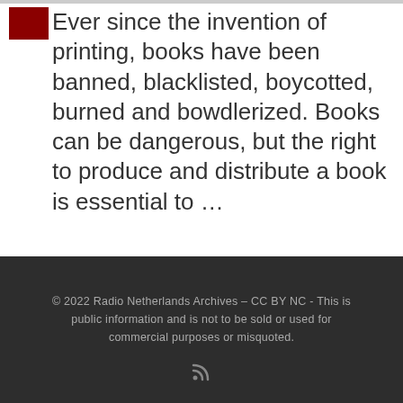Ever since the invention of printing, books have been banned, blacklisted, boycotted, burned and bowdlerized. Books can be dangerous, but the right to produce and distribute a book is essential to ...
© 2022 Radio Netherlands Archives – CC BY NC - This is public information and is not to be sold or used for commercial purposes or misquoted.